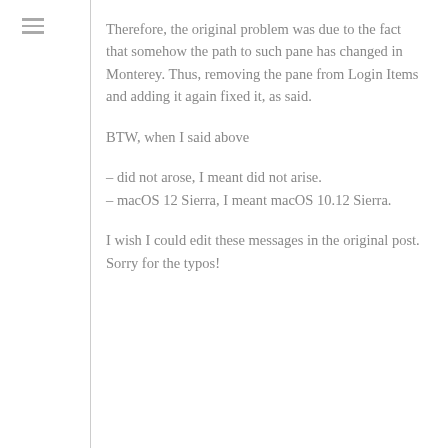Therefore, the original problem was due to the fact that somehow the path to such pane has changed in Monterey. Thus, removing the pane from Login Items and adding it again fixed it, as said.
BTW, when I said above
– did not arose, I meant did not arise.
– macOS 12 Sierra, I meant macOS 10.12 Sierra.
I wish I could edit these messages in the original post. Sorry for the typos!